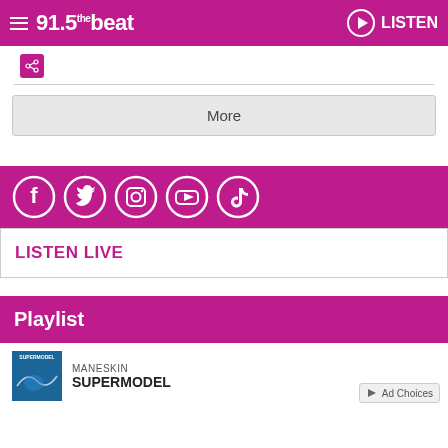91.5 the beat — LISTEN
[Figure (illustration): Share icon button (magenta square with share/fork symbol)]
More
[Figure (illustration): Social media icons bar (Facebook, Twitter, Instagram, YouTube, TikTok) on magenta background]
LISTEN LIVE
Playlist
MANESKIN
SUPERMODEL
Ad Choices